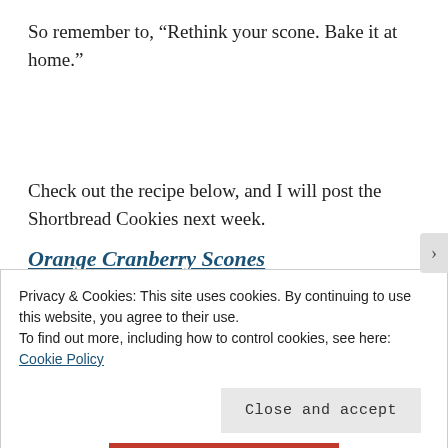So remember to, “Rethink your scone. Bake it at home.”
Check out the recipe below, and I will post the Shortbread Cookies next week.
Orange Cranberry Scones
Privacy & Cookies: This site uses cookies. By continuing to use this website, you agree to their use.
To find out more, including how to control cookies, see here: Cookie Policy
Close and accept